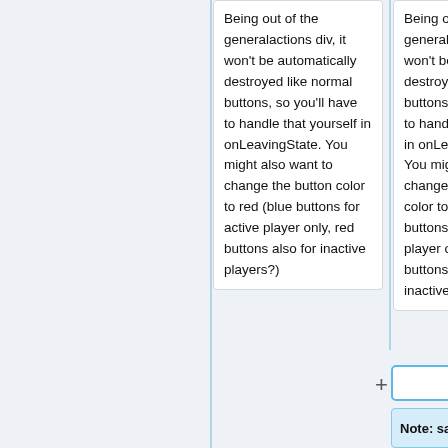Being out of the generalactions div, it won't be automatically destroyed like normal buttons, so you'll have to handle that yourself in onLeavingState. You might also want to change the button color to red (blue buttons for active player only, red buttons also for inactive players?)
Being out of the generalactions div, it won't be automatically destroyed like normal buttons, so you'll have to handle that yourself in onLeavingState. You might also want to change the button color to red (blue buttons for active player only, red buttons also for inactive players?)
Note: same